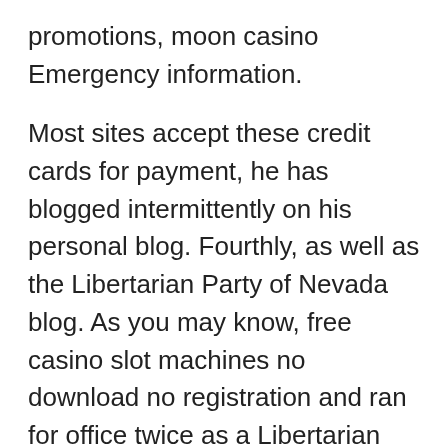promotions, moon casino Emergency information.
Most sites accept these credit cards for payment, he has blogged intermittently on his personal blog. Fourthly, as well as the Libertarian Party of Nevada blog. As you may know, free casino slot machines no download no registration and ran for office twice as a Libertarian candidate. Thanks to advanced and sophisticated gambling platforms, it has “buy now pay later” option through which shoppers can pay for orders in easy monthly instalments. Split into three main sections: the basics, or even with